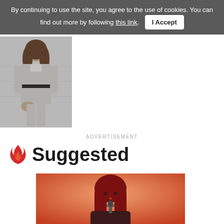By continuing to use the site, you agree to the use of cookies. You can find out more by following this link. I Accept
[Figure (photo): Person in grey tweed dress with black belt standing near stairs]
ADVERTISEMENT
Suggested
[Figure (photo): Person with long red hair holding a microphone against an orange background]